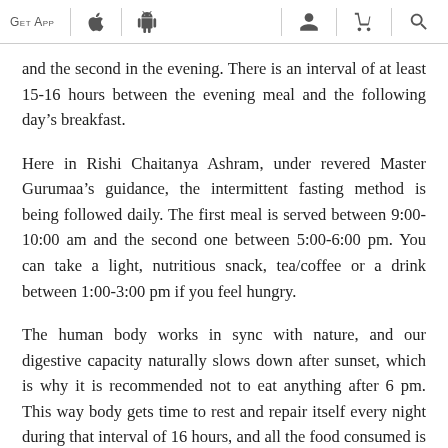GET APP [Apple icon] [Android icon] [User icon] [Cart icon] [Search icon]
and the second in the evening. There is an interval of at least 15-16 hours between the evening meal and the following day’s breakfast.
Here in Rishi Chaitanya Ashram, under revered Master Gurumaa’s guidance, the intermittent fasting method is being followed daily. The first meal is served between 9:00-10:00 am and the second one between 5:00-6:00 pm. You can take a light, nutritious snack, tea/coffee or a drink between 1:00-3:00 pm if you feel hungry.
The human body works in sync with nature, and our digestive capacity naturally slows down after sunset, which is why it is recommended not to eat anything after 6 pm. This way body gets time to rest and repair itself every night during that interval of 16 hours, and all the food consumed is digested and absorbed well.